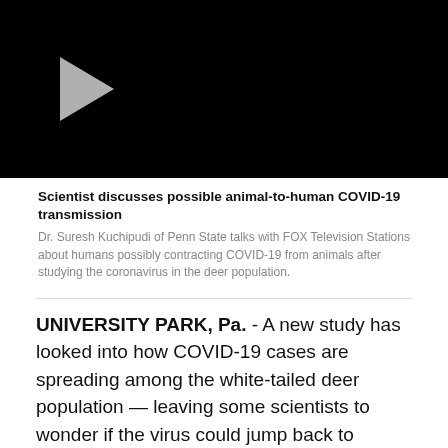[Figure (screenshot): Black video player thumbnail with a gray play button triangle on the left side]
Scientist discusses possible animal-to-human COVID-19 transmission
Dr. Suresh Kuchipudi of Penn State talks with FOX Television Stations about humans possibly contracting COVID-19 from animals after studying the coronavirus in the deer population.
UNIVERSITY PARK, Pa. - A new study has looked into how COVID-19 cases are spreading among the white-tailed deer population — leaving some scientists to wonder if the virus could jump back to humans.
A group of veterinarians at Penn State published the study, although it has yet to be peer-reviewed